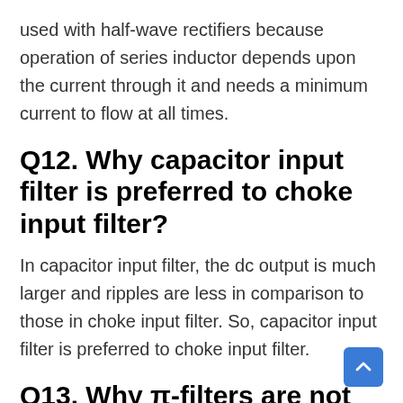used with half-wave rectifiers because operation of series inductor depends upon the current through it and needs a minimum current to flow at all times.
Q12. Why capacitor input filter is preferred to choke input filter?
In capacitor input filter, the dc output is much larger and ripples are less in comparison to those in choke input filter. So, capacitor input filter is preferred to choke input filter.
Q13. Why π-filters are not